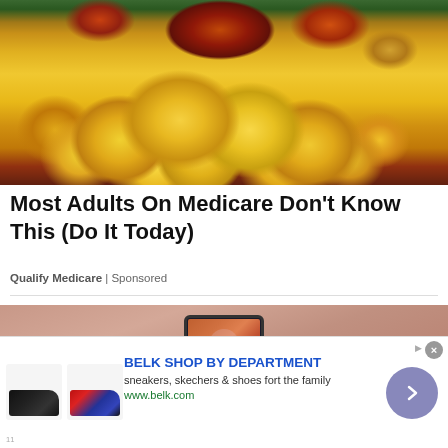[Figure (photo): Pile of yellow-orange fruit (mangoes/peaches) at a grocery store produce display with other fruits visible in background]
Most Adults On Medicare Don't Know This (Do It Today)
Qualify Medicare | Sponsored
[Figure (photo): Amazon Echo Show device on pink background showing a video call]
[Figure (photo): Belk advertisement showing sneakers/shoes with BELK SHOP BY DEPARTMENT text, sneakers, skechers & shoes for the family, www.belk.com]